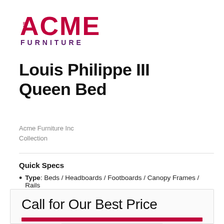[Figure (logo): ACME Furniture logo with stylized letters and house icon in magenta/crimson, FURNITURE text in dark purple below]
Louis Philippe III Queen Bed
Acme Furniture Inc
Collection
Quick Specs
Type: Beds / Headboards / Footboards / Canopy Frames / Rails
Call for Our Best Price
- 1 +